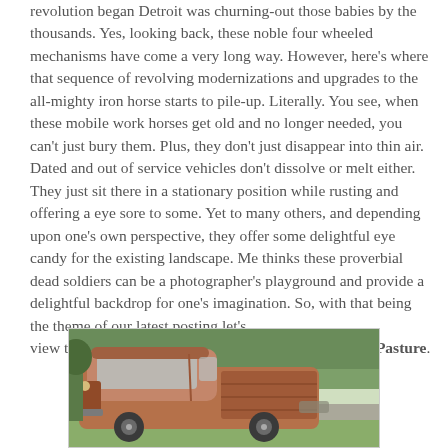revolution began Detroit was churning-out those babies by the thousands. Yes, looking back, these noble four wheeled mechanisms have come a very long way. However, here's where that sequence of revolving modernizations and upgrades to the all-mighty iron horse starts to pile-up. Literally. You see, when these mobile work horses get old and no longer needed, you can't just bury them. Plus, they don't just disappear into thin air. Dated and out of service vehicles don't dissolve or melt either. They just sit there in a stationary position while rusting and offering a eye sore to some. Yet to many others, and depending upon one's own perspective, they offer some delightful eye candy for the existing landscape. Me thinks these proverbial dead soldiers can be a photographer's playground and provide a delightful backdrop for one's imagination. So, with that being the theme of our latest posting let's view this picturesque story titled, Iron Horses Sent To Pasture.
[Figure (photo): A vintage rusted truck parked outdoors, with trees and a road visible in the background. The truck appears to be an old American pickup or work truck with faded reddish-brown paint.]